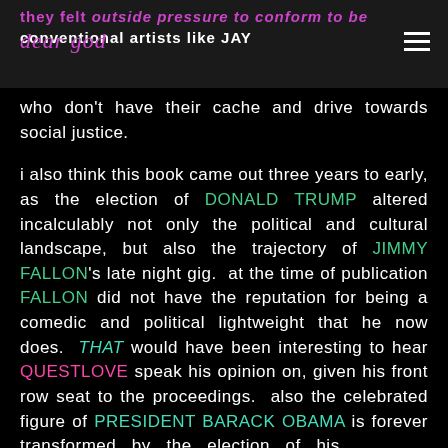they felt outside pressure to conform to be conventional artists like JAY who don't have their cache and drive towards social justice.
who don't have their cache and drive towards social justice.
i also think this book came out three years to early, as the election of DONALD TRUMP altered incalculably not only the political and cultural landscape, but also the trajectory of JIMMY FALLON's late night gig. at the time of publication FALLON did not have the reputation for being a comedic and political lightweight that he now does. THAT would have been interesting to hear QUESTLOVE speak his opinion on, given his front row seat to the proceedings. also the celebrated figure of PRESIDENT BARACK OBAMA is forever transformed by the election of his